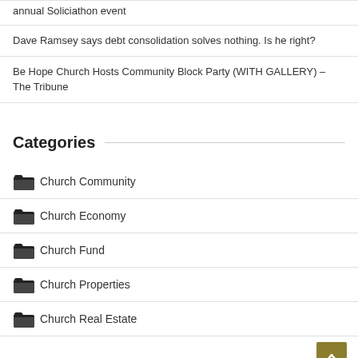annual Soliciathon event
Dave Ramsey says debt consolidation solves nothing. Is he right?
Be Hope Church Hosts Community Block Party (WITH GALLERY) – The Tribune
Categories
Church Community
Church Economy
Church Fund
Church Properties
Church Real Estate
Archives